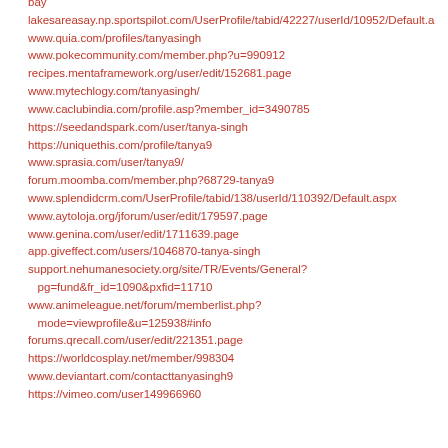bay
lakesareasay.np.sportspilot.com/UserProfile/tabid/42227/userId/10952/Default.a
www.quia.com/profiles/tanyasingh
www.pokecommunity.com/member.php?u=990912
recipes.mentaframework.org/user/edit/152681.page
www.mytechlogy.com/tanyasingh/
www.caclubindia.com/profile.asp?member_id=3490785
https://seedandspark.com/user/tanya-singh
https://uniquethis.com/profile/tanya9
www.sprasia.com/user/tanya9/
forum.moomba.com/member.php?68729-tanya9
www.splendidcrm.com/UserProfile/tabid/138/userId/110392/Default.aspx
www.aytoloja.org/jforum/user/edit/179597.page
www.genina.com/user/edit/1711639.page
app.giveffect.com/users/1046870-tanya-singh
support.nehumanesociety.org/site/TR/Events/General?pg=fund&fr_id=1090&pxfid=11710
www.animeleague.net/forum/memberlist.php?mode=viewprofile&u=125938#info
forums.qrecall.com/user/edit/221351.page
https://worldcosplay.net/member/998304
www.deviantart.com/contacttanyasingh9
https://vimeo.com/user149966960